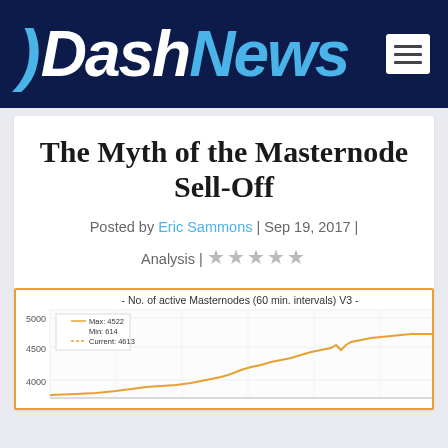DashNews
The Myth of the Masternode Sell-Off
Posted by Eric Sammons | Sep 19, 2017 | Analysis | ★★★★★
[Figure (continuous-plot): Line chart showing No. of active Masternodes (60 min. intervals) V3. Y-axis from ~4000 to 5000 on both sides. Legend shows Max: 4522, Min: 614, Current: 4613. Orange line trending upward from lower values to approximately 4500-4600 range.]